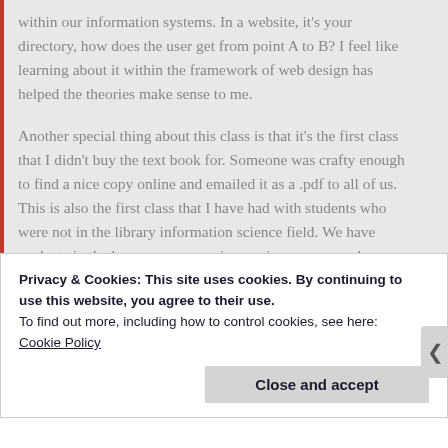within our information systems. In a website, it's your directory, how does the user get from point A to B? I feel like learning about it within the framework of web design has helped the theories make sense to me.
Another special thing about this class is that it's the first class that I didn't buy the text book for. Someone was crafty enough to find a nice copy online and emailed it as a .pdf to all of us. This is also the first class that I have had with students who were not in the library information science field. We have students in the human computer interaction program who are taking this class as an elective. I'm hoping to take a human computer interaction course next year. This goes to
Privacy & Cookies: This site uses cookies. By continuing to use this website, you agree to their use.
To find out more, including how to control cookies, see here:
Cookie Policy
Close and accept